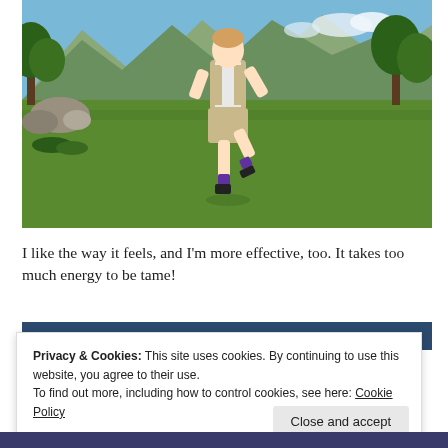[Figure (screenshot): A Sims 4 game screenshot showing a character in khaki shorts and vest running on grass with mountains and trees in the background]
I like the way it feels, and I'm more effective, too. It takes too much energy to be tame!
Privacy & Cookies: This site uses cookies. By continuing to use this website, you agree to their use.
To find out more, including how to control cookies, see here: Cookie Policy